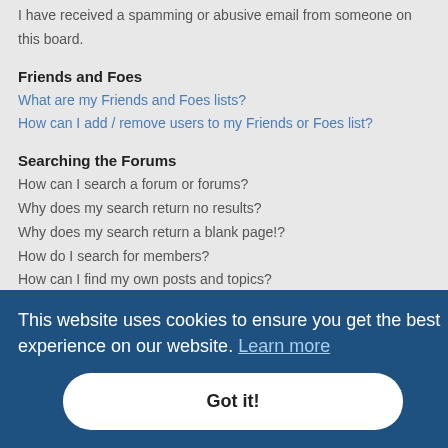I have received a spamming or abusive email from someone on this board.
Friends and Foes
What are my Friends and Foes lists?
How can I add / remove users to my Friends or Foes list?
Searching the Forums
How can I search a forum or forums?
Why does my search return no results?
Why does my search return a blank page!?
How do I search for members?
How can I find my own posts and topics?
Subscriptions and Bookmarks
What is the difference between bookmarking and subscribing?
How do I bookmark or subscribe to specific topics?
How do I subscribe to specific forums?
How do I remove my subscriptions?
Attachments
What attachments are allowed on this board?
How do I find all my attachments?
phpBB Issues
Who wrote this bulletin board?
Why isn't X feature available?
This website uses cookies to ensure you get the best experience on our website. Learn more
Got it!